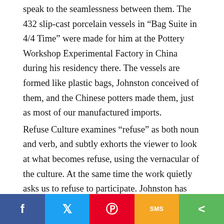speak to the seamlessness between them. The 432 slip-cast porcelain vessels in “Bag Suite in 4/4 Time” were made for him at the Pottery Workshop Experimental Factory in China during his residency there. The vessels are formed like plastic bags, Johnston conceived of them, and the Chinese potters made them, just as most of our manufactured imports.

Refuse Culture examines “refuse” as both noun and verb, and subtly exhorts the viewer to look at what becomes refuse, using the vernacular of the culture. At the same time the work quietly asks us to refuse to participate. Johnston has said that withdrawal is all that’s needed for consumer culture to end. He also considers that refusal to be quite simple, once we notice the manipulation behind consumption. Johnston’s exhortation, through the installation, is like jazz improvisation — visual
[Figure (other): Social media share bar with buttons for Facebook, Twitter, Pinterest, SMS, and a generic share icon]